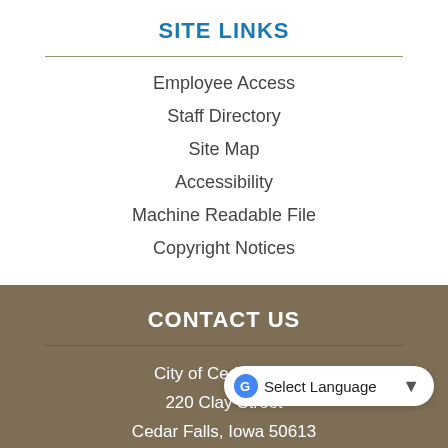SITE LINKS
Employee Access
Staff Directory
Site Map
Accessibility
Machine Readable File
Copyright Notices
CONTACT US
City of Cedar Falls
220 Clay Street
Cedar Falls, Iowa 50613